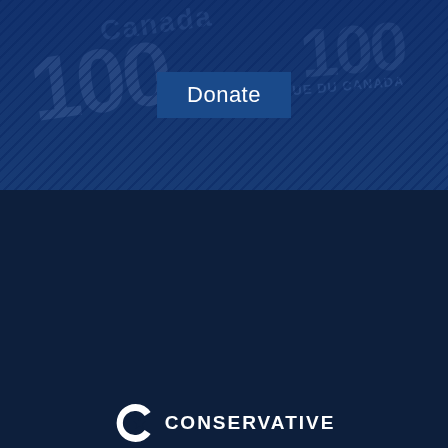[Figure (photo): Hero image of Canadian $100 bills with a dark blue overlay, showing 'Donate' button in center]
Donate
[Figure (logo): Conservative Party of Canada logo — stylized C with maple leaf and text CONSERVATIVE]
Authorized by the Official Agent for South Okanagan – West Kootenay.
Powered by NationBuilder.
About our EDA / Join the CPC
Home
Latest News
Survey
Donate
Contact
Join the CPC